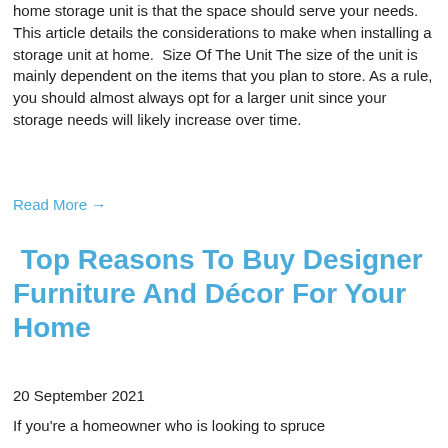home storage unit is that the space should serve your needs. This article details the considerations to make when installing a storage unit at home.  Size Of The Unit The size of the unit is mainly dependent on the items that you plan to store. As a rule, you should almost always opt for a larger unit since your storage needs will likely increase over time.
Read More →
Top Reasons To Buy Designer Furniture And Décor For Your Home
20 September 2021
If you're a homeowner who is looking to spruce